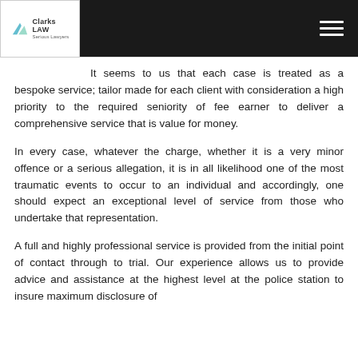Clarks Law - logo and navigation header
It seems to us that each case is treated as a bespoke service; tailor made for each client with consideration a high priority to the required seniority of fee earner to deliver a comprehensive service that is value for money.
In every case, whatever the charge, whether it is a very minor offence or a serious allegation, it is in all likelihood one of the most traumatic events to occur to an individual and accordingly, one should expect an exceptional level of service from those who undertake that representation.
A full and highly professional service is provided from the initial point of contact through to trial. Our experience allows us to provide advice and assistance at the highest level at the police station to insure maximum disclosure of